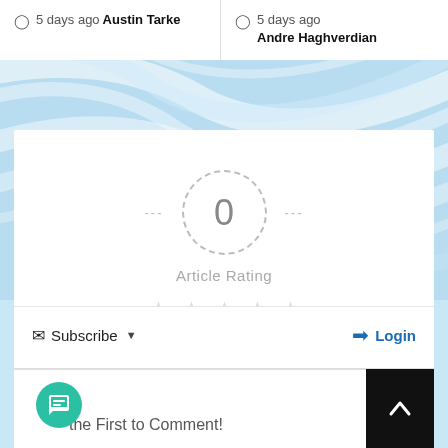5 days ago  Austin Tarke
5 days ago  Andre Haghverdian
[Figure (other): Blue wavy abstract background]
0
Article Rating
[Figure (other): Five empty star rating icons]
Subscribe
Login
the First to Comment!